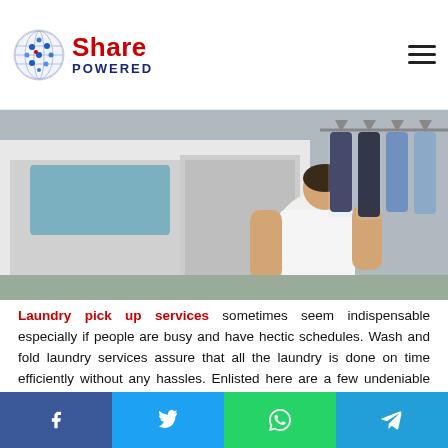Share Powered
[Figure (photo): Person in white shirt unloading dry-cleaned clothes on hangers from a white van]
Laundry pick up services sometimes seem indispensable especially if people are busy and have hectic schedules. Wash and fold laundry services assure that all the laundry is done on time efficiently without any hassles. Enlisted here are a few undeniable benefits of laundry pick-up and delivery services.
Convenience Guaranteed:
f  t  WhatsApp  Telegram